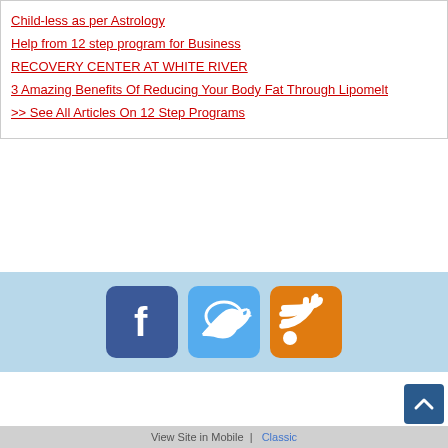Child-less as per Astrology
Help from 12 step program for Business
RECOVERY CENTER AT WHITE RIVER
3 Amazing Benefits Of Reducing Your Body Fat Through Lipomelt
>> See All Articles On 12 Step Programs
[Figure (logo): Social media icons: Facebook (blue), Twitter (light blue), RSS feed (orange)]
[Figure (logo): SelfGrowth.com logo with yellow sun graphic and tagline: The Online Self Improvement Community]
View Site in Mobile  |  Classic